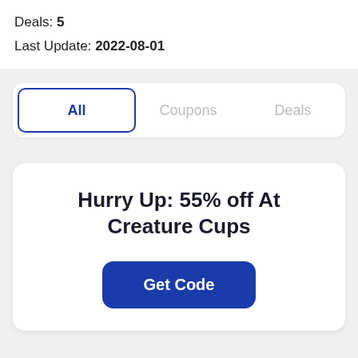Deals: 5
Last Update: 2022-08-01
All | Coupons | Deals
Hurry Up: 55% off At Creature Cups
Get Code